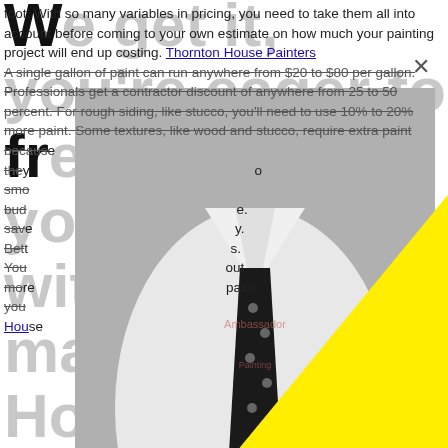foot. With so many variables in pricing, you need to take them all into account before coming to your own estimate on how much your painting project will end up costing. Thornton House Painters
A single gallon of paint can run anywhere from $20 to $80 per gallon. Professionals get a contractor discount of anywhere from 25 to 50 percent. For rough siding, like stucco, you'll need to use 10% to 20% more paint. Some textures, like wood and stucco, require extra paint because they...smooth...budget...save...Better...You...more...paint you... House Painters
[Figure (photo): Black and white photo of a man in a white dress shirt with a black polka-dot tie and matching pocket square. An Ambassador Painting logo watermark is visible. A large yellow triangle overlays the lower right portion of the image.]
We get it, you're eager to freshen up your house with a makeover. However, don't